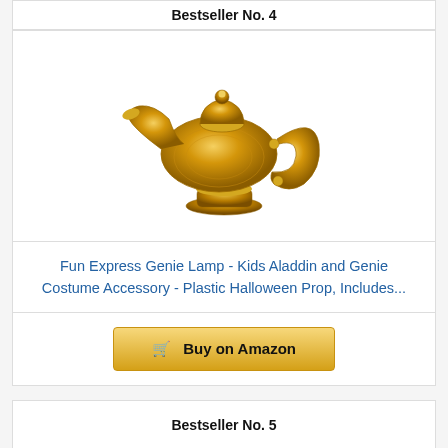Bestseller No. 4
[Figure (photo): Gold genie lamp (Aladdin-style magic lamp), golden metallic teapot shape with ornate handle and spout, on white background]
Fun Express Genie Lamp - Kids Aladdin and Genie Costume Accessory - Plastic Halloween Prop, Includes...
Buy on Amazon
Bestseller No. 5
[Figure (photo): Partial view of another gold genie lamp product at bottom of page]